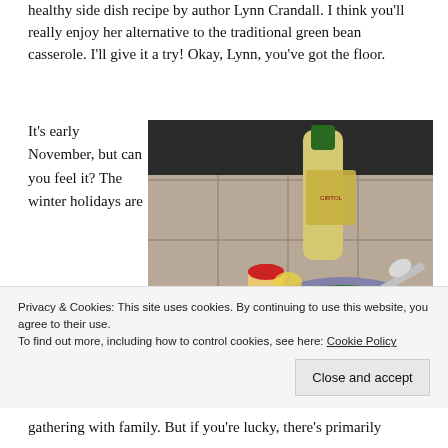healthy side dish recipe by author Lynn Crandall. I think you'll really enjoy her alternative to the traditional green bean casserole. I'll give it a try! Okay, Lynn, you've got the floor.
It's early November, but can you feel it? The winter holidays are
[Figure (photo): A kitchen countertop with a bowl of fresh green beans, a bottle of olive oil, and a small jar of seasoning on white tile.]
Privacy & Cookies: This site uses cookies. By continuing to use this website, you agree to their use. To find out more, including how to control cookies, see here: Cookie Policy
Close and accept
gathering with family. But if you're lucky, there's primarily